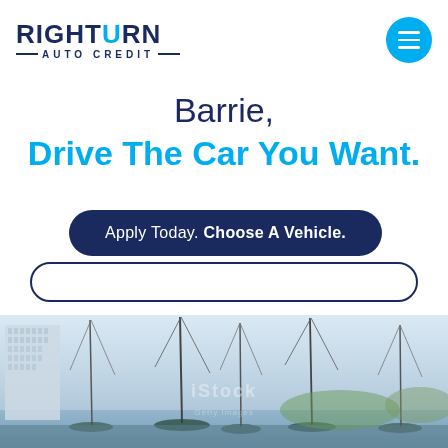[Figure (logo): RightTurn Auto Credit logo — dark navy bold text with cyan accent on the U, with AUTO CREDIT tagline below flanked by dashes]
[Figure (illustration): Cyan circular hamburger menu button with three white horizontal lines]
Barrie,
Drive The Car You Want.
Apply Today. Choose A Vehicle.
[Figure (photo): Stock photo of a marina with sailing boat masts in foreground, a tall residential building on the left, and an overcast sky. iStock / Getty Images watermark visible.]